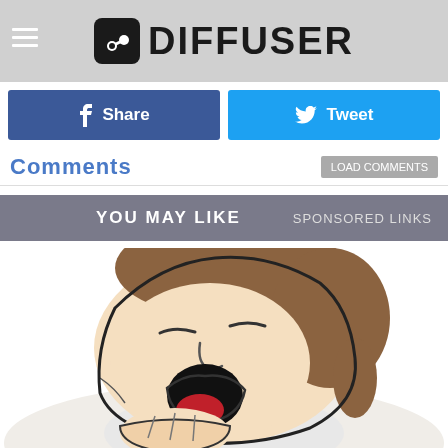DIFFUSER
f  Share
Tweet
Comments
YOU MAY LIKE    SPONSORED LINKS
[Figure (illustration): Cartoon illustration of a person yawning or sleeping with mouth open wide, brown hair, eyes closed, lying down on a pillow. Comic/cartoon style with black outlines.]